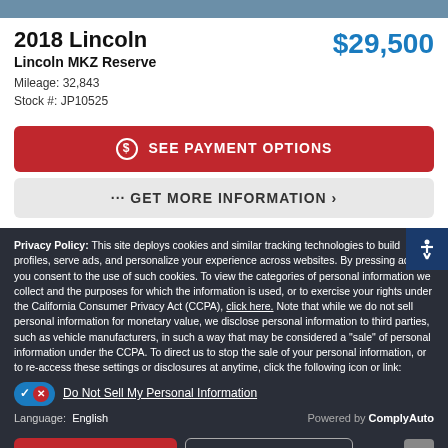2018 Lincoln
Lincoln MKZ Reserve
Mileage: 32,843
Stock #: JP10525
$29,500
SEE PAYMENT OPTIONS
... GET MORE INFORMATION ›
Privacy Policy: This site deploys cookies and similar tracking technologies to build profiles, serve ads, and personalize your experience across websites. By pressing accept, you consent to the use of such cookies. To view the categories of personal information we collect and the purposes for which the information is used, or to exercise your rights under the California Consumer Privacy Act (CCPA), click here. Note that while we do not sell personal information for monetary value, we disclose personal information to third parties, such as vehicle manufacturers, in such a way that may be considered a "sale" of personal information under the CCPA. To direct us to stop the sale of your personal information, or to re-access these settings or disclosures at anytime, click the following icon or link:
Do Not Sell My Personal Information
Language:  English
Powered by ComplyAuto
Accept and Continue →
California Privacy Disclosures